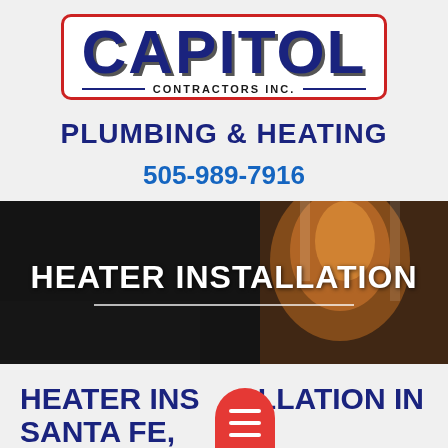[Figure (logo): Capitol Contractors Inc. logo with red rounded border, large dark blue CAPITOL text, and CONTRACTORS INC. in smaller text with dividing lines]
PLUMBING & HEATING
505-989-7916
[Figure (photo): Dark banner image showing a fireplace/heater scene with text HEATER INSTALLATION overlaid in white bold letters and a white underline]
HEATER INSTALLATION IN SANTA FE,